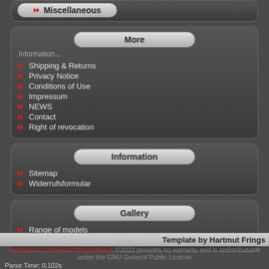Miscellaneous
More
Shipping & Returns
Privacy Notice
Conditions of Use
Impressum
NEWS
Contact
Right of revocation
Information
Sitemap
Widerrufsformular
Gallery
Range of models
Customers models
Template by Hartmut Frings
modified eCommerce Shopsoftware ©2022 provides no warranty and is redistributable under the GNU General Public License
Parse Time: 0.102s